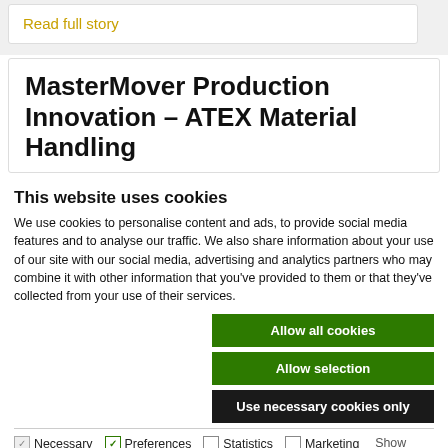Read full story
MasterMover Production Innovation – ATEX Material Handling
This website uses cookies
We use cookies to personalise content and ads, to provide social media features and to analyse our traffic. We also share information about your use of our site with our social media, advertising and analytics partners who may combine it with other information that you've provided to them or that they've collected from your use of their services.
Allow all cookies
Allow selection
Use necessary cookies only
Necessary  Preferences  Statistics  Marketing  Show details